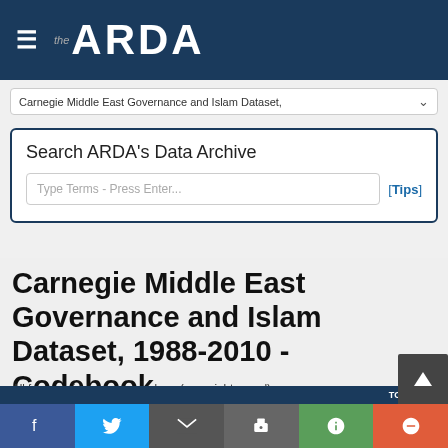the ARDA
Carnegie Middle East Governance and Islam Dataset, ...
Search ARDA's Data Archive
Type Terms - Press Enter...
[Tips]
Carnegie Middle East Governance and Islam Dataset, 1988-2010 - Codebook
All frequencies are raw numbers (no weights used).
1) Source of the survey data (MSURVEY)
TOTAL   %